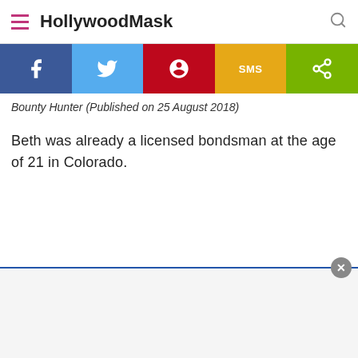HollywoodMask
[Figure (infographic): Social share buttons bar with Facebook (blue), Twitter (light blue), Pinterest (red), SMS (yellow/orange), and Share (green) icons]
Bounty Hunter (Published on 25 August 2018)
Beth was already a licensed bondsman at the age of 21 in Colorado.
[Figure (other): Advertisement area at bottom of page with close button]